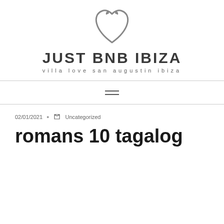[Figure (logo): Just BNB Ibiza logo: a heart shape with decorative swirls at top, in gray outline, above the text JUST BNB IBIZA and tagline villa love san augustin ibiza]
JUST BNB IBIZA
villa love san augustin ibiza
[Figure (other): Hamburger menu icon with two horizontal lines]
02/01/2021 • Uncategorized
romans 10 tagalog